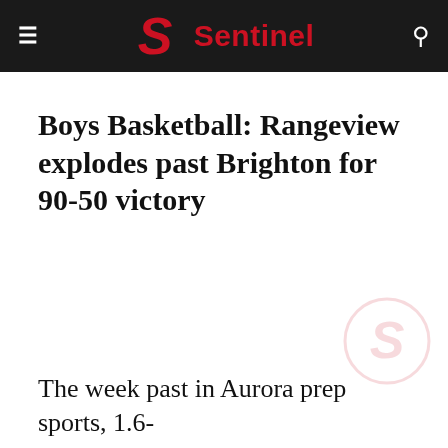Sentinel
Boys Basketball: Rangeview explodes past Brighton for 90-50 victory
The week past in Aurora prep sports, 1.6-